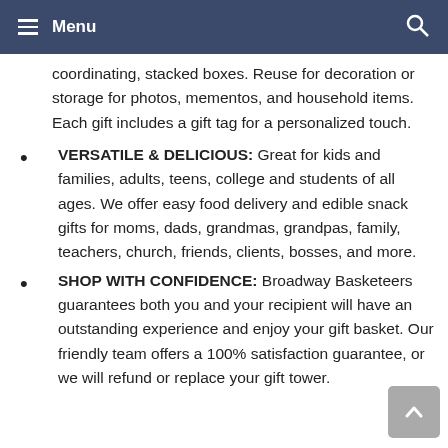Menu
coordinating, stacked boxes. Reuse for decoration or storage for photos, mementos, and household items. Each gift includes a gift tag for a personalized touch.
VERSATILE & DELICIOUS: Great for kids and families, adults, teens, college and students of all ages. We offer easy food delivery and edible snack gifts for moms, dads, grandmas, grandpas, family, teachers, church, friends, clients, bosses, and more.
SHOP WITH CONFIDENCE: Broadway Basketeers guarantees both you and your recipient will have an outstanding experience and enjoy your gift basket. Our friendly team offers a 100% satisfaction guarantee, or we will refund or replace your gift tower.